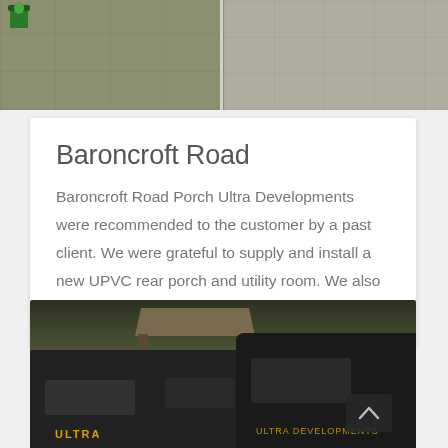[Figure (photo): Two side-by-side photos of paving stones/slabs on the ground; left photo shows some green plants/bucket in corner, right photo shows clean grey paving slabs]
Baroncroft Road
Baroncroft Road Porch Ultra Developments were recommended to the customer by a past client. We were grateful to supply and install a new UPVC rear porch and utility room. We also installed new windows [...]
[Figure (photo): Photo of two dark vans with 'Ultra' branding parked in front of a lych-gate/church entrance, with trees and stone wall in background; a chevron-up button overlay is visible]